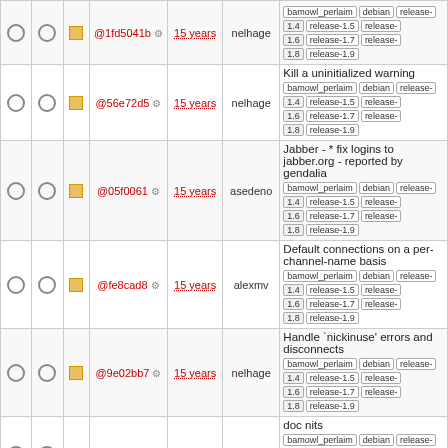|  |  |  | Hash | Age | User | Description/Tags |
| --- | --- | --- | --- | --- | --- | --- |
| ○ | ○ | □ | @1fd5041b ⚙ | 15 years | nelhage | bamowl_perlaim | debian | release-
1.4 | release-1.5 | release-
1.6 | release-1.7 | release-
1.8 | release-1.9 |
| ○ | ○ | □ | @56e72d5 ⚙ | 15 years | nelhage | Kill a uninitialized warning
bamowl_perlaim | debian | release-
1.4 | release-1.5 | release-
1.6 | release-1.7 | release-
1.8 | release-1.9 |
| ○ | ○ | □ | @05f0061 ⚙ | 15 years | asedeno | Jabber - * fix logins to jabber.org - reported by gendalia
bamowl_perlaim | debian | release-
1.4 | release-1.5 | release-
1.6 | release-1.7 | release-
1.8 | release-1.9 |
| ○ | ○ | □ | @fe8cad8 ⚙ | 15 years | alexmv | Default connections on a per-channel-name basis
bamowl_perlaim | debian | release-
1.4 | release-1.5 | release-
1.6 | release-1.7 | release-
1.8 | release-1.9 |
| ○ | ○ | □ | @9e02bb7 ⚙ | 15 years | nelhage | Handle `nickinuse' errors and disconnects
bamowl_perlaim | debian | release-
1.4 | release-1.5 | release-
1.6 | release-1.7 | release-
1.8 | release-1.9 |
| ○ | ○ | □ | @b0c8011 ⚙ | 15 years | nelhage | doc nits
bamowl_perlaim | debian | release-
1.4 | release-1.5 | release-
1.6 | release-1.7 | release-
1.8 | release-1.9 |
| ● | ○ |  |  |  |  |  |